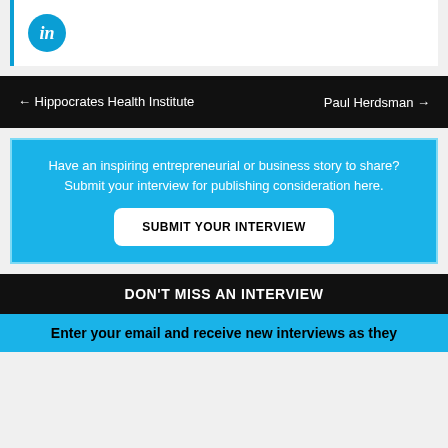[Figure (logo): LinkedIn logo: blue circle with white italic 'in' text]
← Hippocrates Health Institute    Paul Herdsman →
Have an inspiring entrepreneurial or business story to share? Submit your interview for publishing consideration here.
SUBMIT YOUR INTERVIEW
DON'T MISS AN INTERVIEW
Enter your email and receive new interviews as they